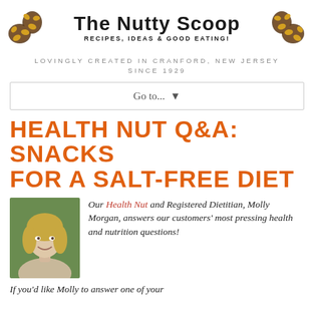[Figure (logo): The Nutty Scoop logo with two illustrated peanut clusters on either side and the title text 'THE NUTTY SCOOP' with subtitle 'RECIPES, IDEAS & GOOD EATING!']
LOVINGLY CREATED IN CRANFORD, NEW JERSEY SINCE 1929
Go to... ▼
HEALTH NUT Q&A: SNACKS FOR A SALT-FREE DIET
[Figure (photo): Headshot of a blonde woman smiling, Molly Morgan, registered dietitian]
Our Health Nut and Registered Dietitian, Molly Morgan, answers our customers' most pressing health and nutrition questions!
If you'd like Molly to answer one of your